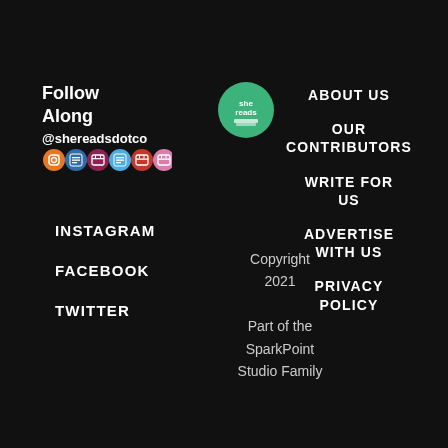Follow Along @shereadsdotco
[Figure (logo): She Reads circular green logo with white text and book icon]
INSTAGRAM
FACEBOOK
TWITTER
Copyright 2021 Part of the SparkPoint Studio Family
ABOUT US
OUR CONTRIBUTORS
WRITE FOR US
ADVERTISE WITH US
PRIVACY POLICY